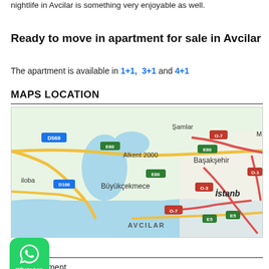nightlife in Avcilar is something very enjoyable as well.
Ready to move in apartment for sale in Avcilar
The apartment is available in 1+1, 3+1 and 4+1
MAPS LOCATION
[Figure (map): Google Maps showing Avcilar district in Istanbul, Turkey, with surrounding areas including Başakşehir, Büyükçekmece, Alkent 2000, Şamlar. Roads labeled D569, E80, O-7, O-3, O-1, D100, E5, O-7 are visible.]
[Figure (logo): WhatsApp green button with phone icon and WhatsApp label]
Property Type
Apartment